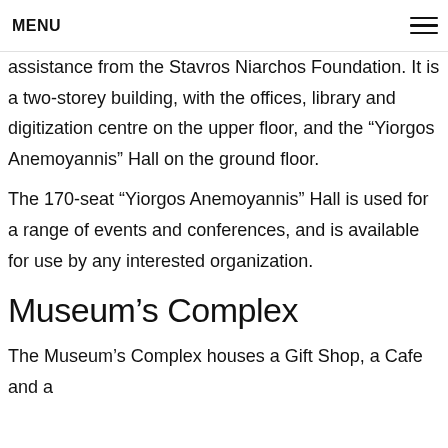MENU
assistance from the Stavros Niarchos Foundation. It is a two-storey building, with the offices, library and digitization centre on the upper floor, and the “Yiorgos Anemoyannis” Hall on the ground floor.
The 170-seat “Yiorgos Anemoyannis” Hall is used for a range of events and conferences, and is available for use by any interested organization.
Museum’s Complex
The Museum’s Complex houses a Gift Shop, a Cafe and a